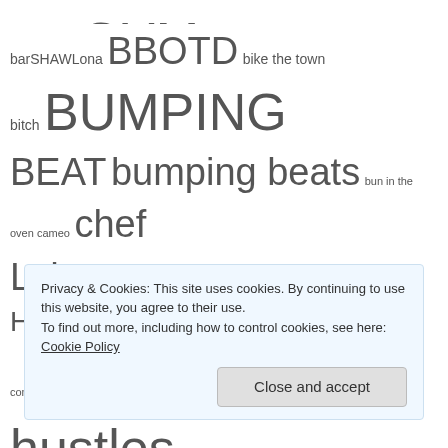AActionals GYM dj BOF dill drBOP cuts barSHAWLona BBOTD bike the town bitch BUMPING BEAT bumping beats bun in the oven cameo chef Lshawtay cliteracy comeback kids Cook at Home covid convos detroit detroit hustles harder detroit pistons detroit revitalization DiamondLyfe DIY dj lshawtay do it for
Privacy & Cookies: This site uses cookies. By continuing to use this website, you agree to their use. To find out more, including how to control cookies, see here: Cookie Policy